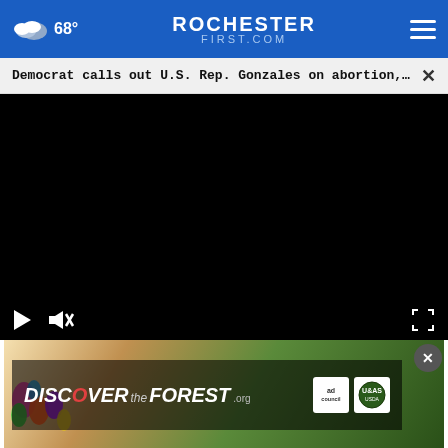68° ROCHESTER FIRST.COM
Democrat calls out U.S. Rep. Gonzales on abortion,...
[Figure (screenshot): Black video player area with play button, mute button, and fullscreen button controls at the bottom]
[Figure (screenshot): Advertisement banner for DISCOVERtheFOREST.org with ad council and USFS logos, showing forest imagery with colorful flowers]